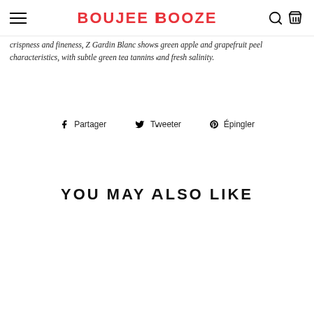BOUJEE BOOZE
crispness and fineness, Z Gardin Blanc shows green apple and grapefruit peel characteristics, with subtle green tea tannins and fresh salinity.
Partager   Tweeter   Épingler
YOU MAY ALSO LIKE